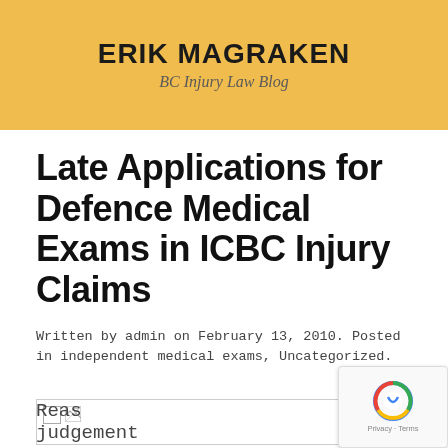ERIK MAGRAKEN
BC Injury Law Blog
Late Applications for Defence Medical Exams in ICBC Injury Claims
Written by admin on February 13, 2010. Posted in independent medical exams, Uncategorized.
[Figure (other): Broken image placeholder]
Reas
judgement